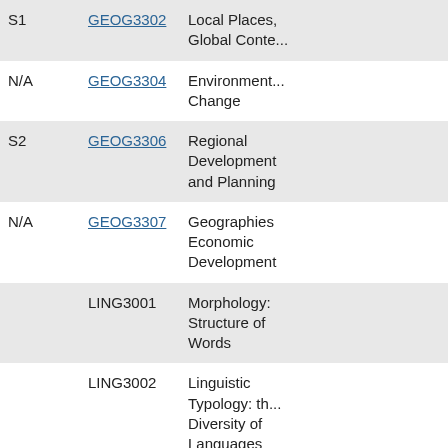| Semester | Code | Course Name |
| --- | --- | --- |
| S1 | GEOG3302 | Local Places, Global Conte... |
| N/A | GEOG3304 | Environment... Change |
| S2 | GEOG3306 | Regional Development and Planning |
| N/A | GEOG3307 | Geographies Economic Development |
|  | LING3001 | Morphology: Structure of Words |
|  | LING3002 | Linguistic Typology: th... Diversity of Languages |
| S1 | LING3003 | Language Ac... Time |
|  | LING3004 | Pragmatics: |